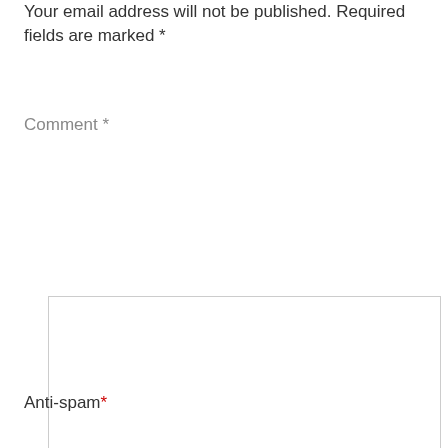Your email address will not be published. Required fields are marked *
Comment *
Anti-spam*